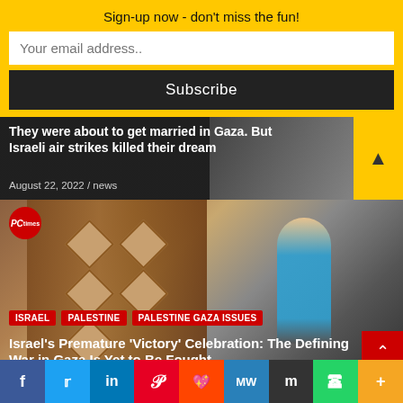Sign-up now - don't miss the fun!
Your email address..
Subscribe
They were about to get married in Gaza. But Israeli air strikes killed their dream
August 22, 2022 / news
[Figure (photo): News photo with tags ISRAEL, PALESTINE, PALESTINE GAZA ISSUES and article title Israel's Premature 'Victory' Celebration: The Defining War in Gaza Is Yet to Be Fought]
ISRAEL   PALESTINE   PALESTINE GAZA ISSUES
Israel's Premature 'Victory' Celebration: The Defining War in Gaza Is Yet to Be Fought
f  Twitter  in  Pinterest  Reddit  MW  Mix  WhatsApp  +